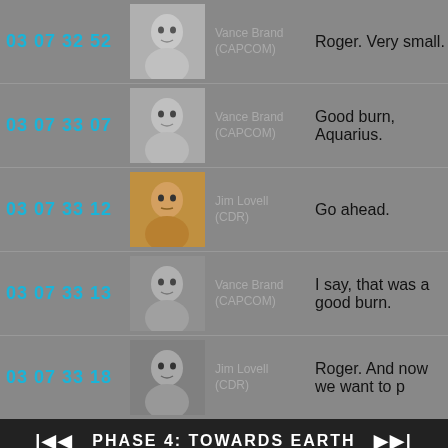03 07 32 52 | Vance Brand (CAPCOM) | Roger. Very small.
03 07 33 07 | Vance Brand (CAPCOM) | Good burn, Aquarius.
03 07 33 12 | Jim Lovell (CDR) | Go ahead.
03 07 33 13 | Vance Brand (CAPCOM) | I say, that was a good burn.
03 07 33 18 | Jim Lovell (CDR) | Roger. And now we want to p
|<< PHASE 4: TOWARDS EARTH >>|